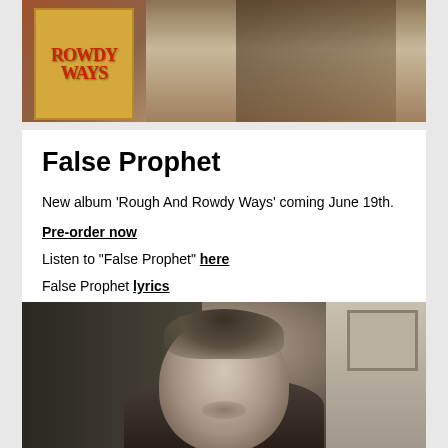[Figure (photo): Top portion of an album cover showing 'ROWDY WAYS' text in red on a yellow/gold background, with a figure holding what appears to be a coffin or box, on a warm brown background]
False Prophet
New album 'Rough And Rowdy Ways' coming June 19th.
Pre-order now
Listen to "False Prophet" here
False Prophet lyrics
[Figure (photo): Black and white portrait photograph of a man (resembling JFK) in a dark suit and tie, looking forward with a slight smile, with a room/office background visible]